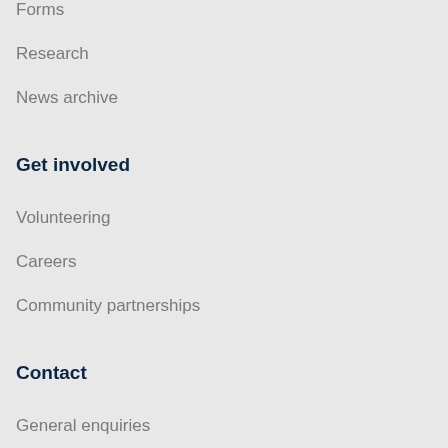Forms
Research
News archive
Get involved
Volunteering
Careers
Community partnerships
Contact
General enquiries